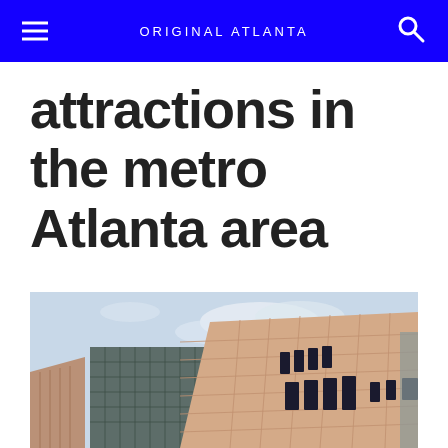ORIGINAL ATLANTA
attractions in the metro Atlanta area
[Figure (photo): Exterior view of a modern building with terracotta/sandstone cladding and glass curtain wall facade, photographed from below against a light blue sky with clouds]